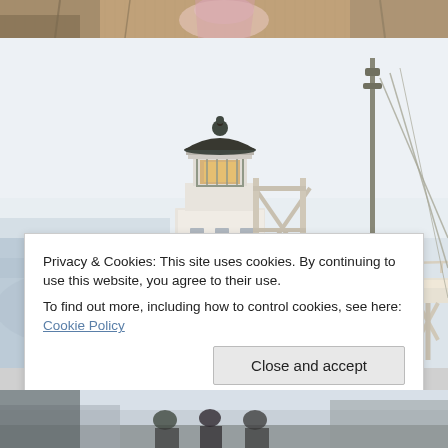[Figure (photo): Partial view of a top image showing people, warm tones, appears to be a wedding or gathering outdoors]
[Figure (photo): Photograph of a lighthouse on a pier extending into the water on a foggy/overcast day. The lighthouse has a dark dome top with glass lantern room, a white structure with metal framework and cables. The pier has white wooden supports and railings. Rocky coastline visible in background with misty gray sky.]
Privacy & Cookies: This site uses cookies. By continuing to use this website, you agree to their use.
To find out more, including how to control cookies, see here: Cookie Policy
Close and accept
[Figure (photo): Partial view of a bottom image showing people, appears to be outdoors scene with figures visible]